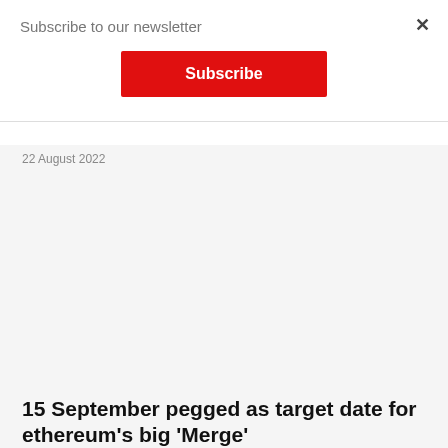Subscribe to our newsletter
Subscribe
×
22 August 2022
15 September pegged as target date for ethereum's big 'Merge'